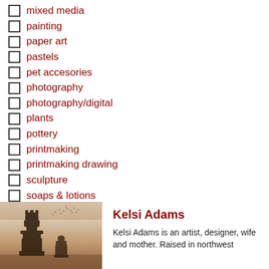mixed media
painting
paper art
pastels
pet accesories
photography
photography/digital
plants
pottery
printmaking
printmaking drawing
sculpture
soaps & lotions
stone
wood
[Figure (photo): Photo of chess pieces (king and pawn) with birds flying in a misty background]
Kelsi Adams
Kelsi Adams is an artist, designer, wife and mother. Raised in northwest